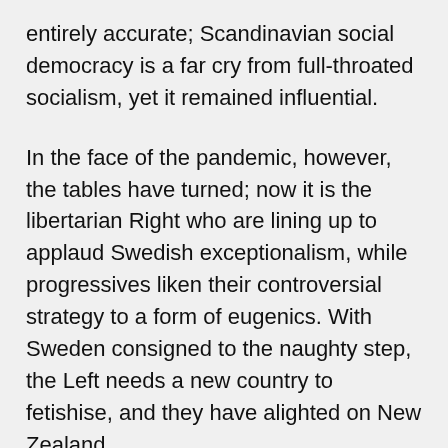entirely accurate; Scandinavian social democracy is a far cry from full-throated socialism, yet it remained influential.
In the face of the pandemic, however, the tables have turned; now it is the libertarian Right who are lining up to applaud Swedish exceptionalism, while progressives liken their controversial strategy to a form of eugenics. With Sweden consigned to the naughty step, the Left needs a new country to fetishise, and they have alighted on New Zealand.
This was underway long before the virus arrived, thanks to NZ's intoxicating combination of centre-left politics and a